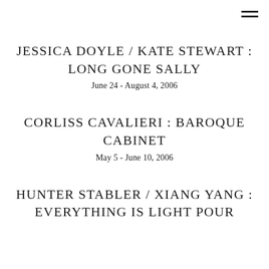JESSICA DOYLE / KATE STEWART : LONG GONE SALLY
June 24 - August 4, 2006
CORLISS CAVALIERI : BAROQUE CABINET
May 5 - June 10, 2006
HUNTER STABLER / XIANG YANG : EVERYTHING IS LIGHT POUR